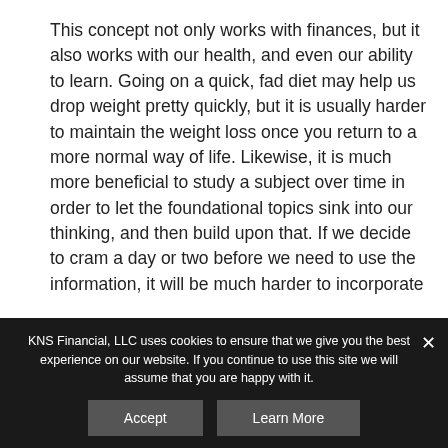This concept not only works with finances, but it also works with our health, and even our ability to learn. Going on a quick, fad diet may help us drop weight pretty quickly, but it is usually harder to maintain the weight loss once you return to a more normal way of life. Likewise, it is much more beneficial to study a subject over time in order to let the foundational topics sink into our thinking, and then build upon that. If we decide to cram a day or two before we need to use the information, it will be much harder to incorporate
KNS Financial, LLC uses cookies to ensure that we give you the best experience on our website. If you continue to use this site we will assume that you are happy with it.
Accept
Learn More